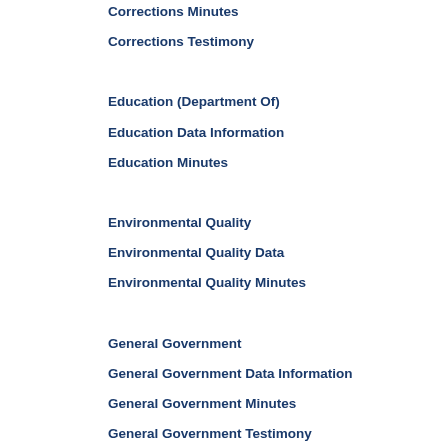Corrections Minutes
Corrections Testimony
Education (Department Of)
Education Data Information
Education Minutes
Environmental Quality
Environmental Quality Data
Environmental Quality Minutes
General Government
General Government Data Information
General Government Minutes
General Government Testimony